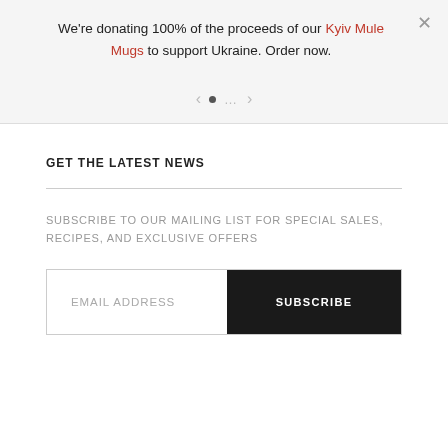We're donating 100% of the proceeds of our Kyiv Mule Mugs to support Ukraine. Order now.
[Figure (other): Carousel navigation controls with left arrow, active dot, inactive dot, and right arrow]
GET THE LATEST NEWS
SUBSCRIBE TO OUR MAILING LIST FOR SPECIAL SALES, RECIPES, AND EXCLUSIVE OFFERS
EMAIL ADDRESS  SUBSCRIBE